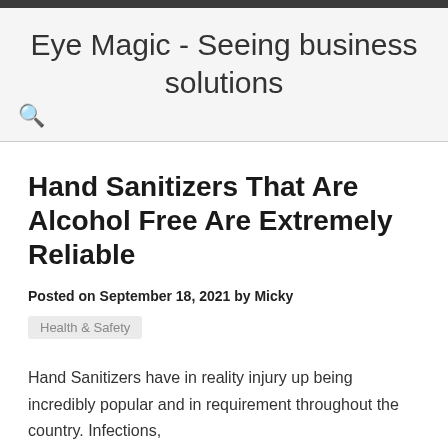Eye Magic - Seeing business solutions
Hand Sanitizers That Are Alcohol Free Are Extremely Reliable
Posted on September 18, 2021 by Micky
Health & Safety
Hand Sanitizers have in reality injury up being incredibly popular and in requirement throughout the country. Infections,